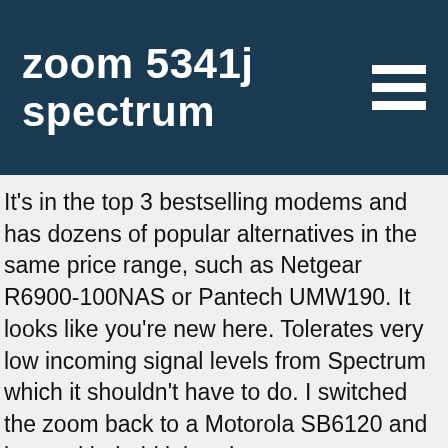zoom 5341j spectrum
It's in the top 3 bestselling modems and has dozens of popular alternatives in the same price range, such as Netgear R6900-100NAS or Pantech UMW190. It looks like you're new here. Tolerates very low incoming signal levels from Spectrum which it shouldn't have to do. I switched the zoom back to a Motorola SB6120 and low and behold it bonds to upstream channel 2. Shop Zoom DOCSIS 3.0 High-Speed Cable Modem Black at Best Buy. ZOOM 5341J ZOOM 5350 ZOOM 5352 ZOOM 5354 ZOOM 5360 ZOOM 5363 Zoom 5370 Zyxel/Hitron CDA-30360. Rank No. Zoom 5341j has been connected all day and all night and 100% ZERO ISSUES ANYMORE! Wouldn't it make more sense to get a technician to investigate this supposed ingress issue? Charter Spectrum Approved Modems Added in February 2018 ARRIS